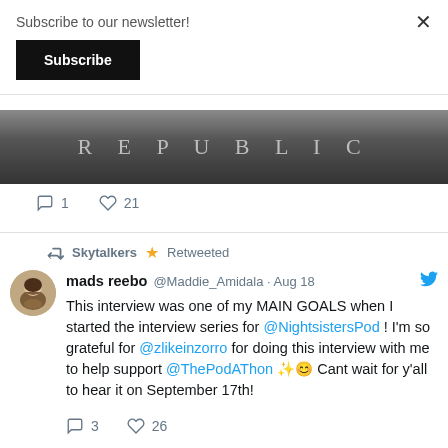Subscribe to our newsletter!
Subscribe
[Figure (photo): Bottom portion of an image showing text 'REPUBLIC' on a dark background]
1  21
Skytalkers ⭐ Retweeted
mads reebo @Maddie_Amidala · Aug 18
This interview was one of my MAIN GOALS when I started the interview series for @NightsistersPod ! I'm so grateful for @zlikeinzorro for doing this interview with me to help support @ThePodAThon ✨😊 Cant wait for y'all to hear it on September 17th!
3  26